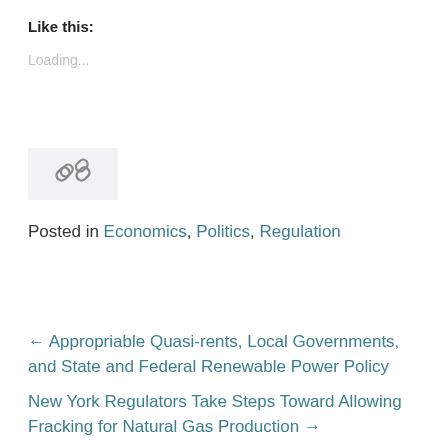Like this:
Loading...
[Figure (other): A link/chain icon inside a light gray rounded box]
Posted in Economics, Politics, Regulation
← Appropriable Quasi-rents, Local Governments, and State and Federal Renewable Power Policy
New York Regulators Take Steps Toward Allowing Fracking for Natural Gas Production →